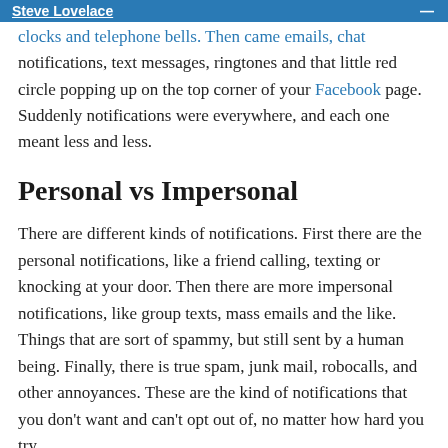Steve Lovelace
clocks and telephone bells. Then came emails, chat notifications, text messages, ringtones and that little red circle popping up on the top corner of your Facebook page. Suddenly notifications were everywhere, and each one meant less and less.
Personal vs Impersonal
There are different kinds of notifications. First there are the personal notifications, like a friend calling, texting or knocking at your door. Then there are more impersonal notifications, like group texts, mass emails and the like. Things that are sort of spammy, but still sent by a human being. Finally, there is true spam, junk mail, robocalls, and other annoyances. These are the kind of notifications that you don't want and can't opt out of, no matter how hard you try.